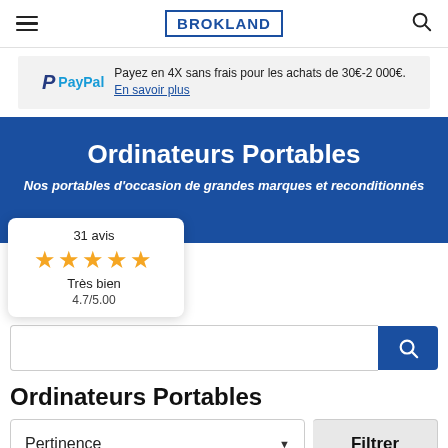BROKLAND
[Figure (logo): PayPal banner: PayPal P logo, text 'Payez en 4X sans frais pour les achats de 30€-2 000€. En savoir plus']
Ordinateurs Portables
Nos portables d'occasion de grandes marques et reconditionnés
31 avis
★★★★★
Très bien
4.7/5.00
Ordinateurs Portables
Pertinence
Filtrer